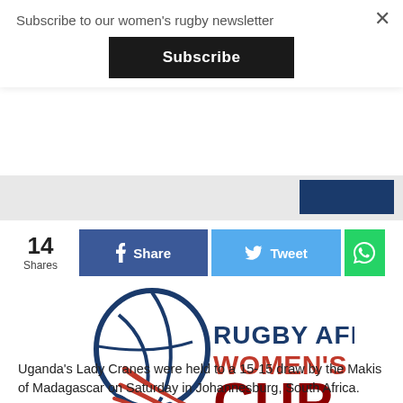Subscribe to our women's rugby newsletter
Subscribe
[Figure (logo): Rugby Africa Women's Cup logo with stylized globe/wing and text]
14 Shares
Share
Tweet
Uganda's Lady Cranes were held to a 15-15 draw by the Makis of Madagascar on Saturday in Johannesburg, South Africa.